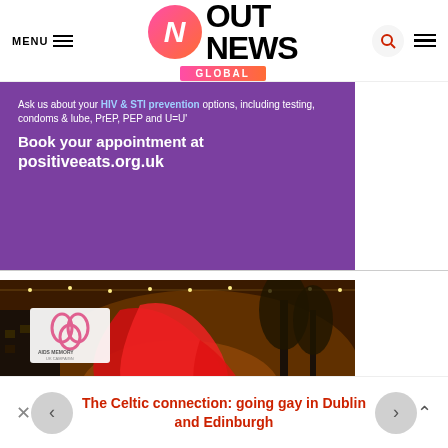[Figure (logo): OutNews Global logo — pink/coral gradient N circle with OUT NEWS GLOBAL text]
[Figure (photo): Purple advertisement banner for positiveeats.org.uk with text about HIV & STI prevention options]
[Figure (photo): Aerial night photograph of a large red AIDS awareness ribbon installation in a city street, with AIDS Memory UK logo overlay]
The Celtic connection: going gay in Dublin and Edinburgh